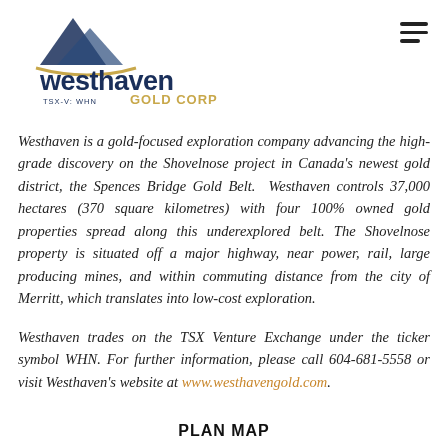[Figure (logo): Westhaven Gold Corp logo with mountain graphic, navy blue and gold text, TSX-V: WHN ticker]
Westhaven is a gold-focused exploration company advancing the high-grade discovery on the Shovelnose project in Canada's newest gold district, the Spences Bridge Gold Belt. Westhaven controls 37,000 hectares (370 square kilometres) with four 100% owned gold properties spread along this underexplored belt. The Shovelnose property is situated off a major highway, near power, rail, large producing mines, and within commuting distance from the city of Merritt, which translates into low-cost exploration.
Westhaven trades on the TSX Venture Exchange under the ticker symbol WHN. For further information, please call 604-681-5558 or visit Westhaven's website at www.westhavengold.com.
PLAN MAP